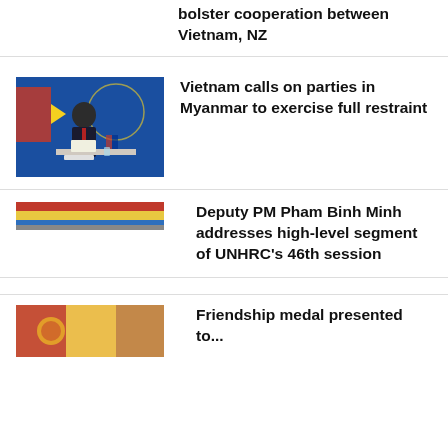bolster cooperation between Vietnam, NZ
[Figure (photo): Vietnamese official at ASEAN meeting with flags in background]
Vietnam calls on parties in Myanmar to exercise full restraint
[Figure (photo): Horizontal banner image, colorful strip]
Deputy PM Pham Binh Minh addresses high-level segment of UNHRC's 46th session
[Figure (photo): Partial image at bottom of page]
Friendship medal presented to...